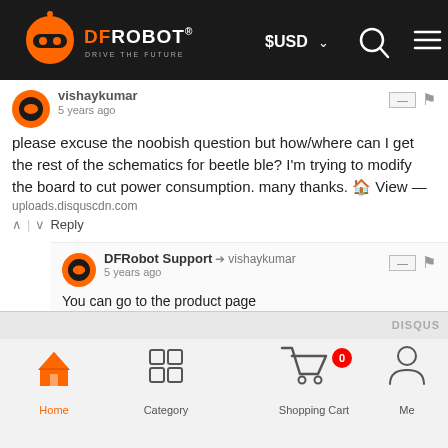[Figure (screenshot): DFRobot website top navigation bar with logo, $USD currency selector, search icon, and hamburger menu on dark background]
vishaykumar
5 years ago
please excuse the noobish question but how/where can I get the rest of the schematics for beetle ble? I'm trying to modify the board to cut power consumption. many thanks. View — uploads.disquscdn.com
Reply
DFRobot Support → vishaykumar
5 years ago
You can go to the product page https://www.dfrobot.com/pro... there is the schematic under "DOCUMENTS"
Reply
[Figure (screenshot): Bottom navigation bar with Home, Category, Shopping Cart (badge 0), and Me icons]